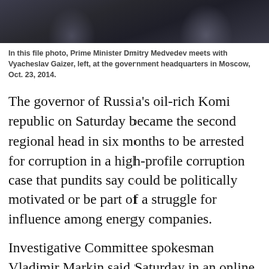[Figure (photo): File photo showing Prime Minister Dmitry Medvedev meeting with Vyacheslav Gaizer at government headquarters in Moscow, dark background with silhouettes of people]
In this file photo, Prime Minister Dmitry Medvedev meets with Vyacheslav Gaizer, left, at the government headquarters in Moscow, Oct. 23, 2014.
The governor of Russia's oil-rich Komi republic on Saturday became the second regional head in six months to be arrested for corruption in a high-profile corruption case that pundits say could be politically motivated or be part of a struggle for influence among energy companies.
Investigative Committee spokesman Vladimir Markin said Saturday in an online statement that Komi Governor Vyacheslav Gaizer, his deputy Alexei Chernov and 17 other senior officials were under investigation for fraud and organizing a criminal